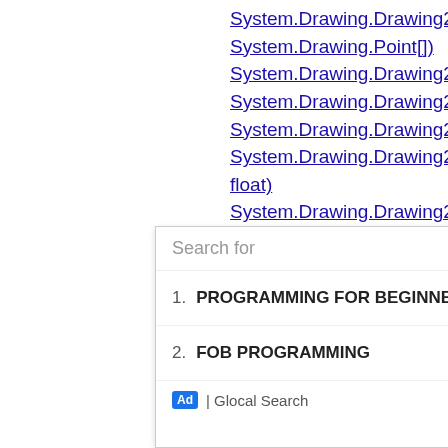System.Drawing.Drawing2D.GraphicsPath.AddBeziers(System.Drawing.Point[])
System.Drawing.Drawing2D.GraphicsPath.AddBeziers(System.Drawing.PointF[])
System.Drawing.Drawing2D.GraphicsPath.AddClosedCurve(System.Drawing.PointF[])
System.Drawing.Drawing2D.GraphicsPath.AddClosedCurve(System.Drawing.PointF[], float)
System.Drawing.Drawing2D.GraphicsPath.AddClosedCurve(System.Drawing.Point[])
System.Drawing.Drawing2D.GraphicsPath.AddClosedCurve(System.Drawing.Point[], int, int, float)
System.Drawing.Drawing2D.GraphicsPath.AddClosedCurve(System.Drawing.PointF[])
System.Drawing.Drawing2D.GraphicsPath.AddClosedCurve(System.Drawing.PointF[], float)
System.Drawing.Drawing2D.GraphicsPath.AddClosedCurve(...)